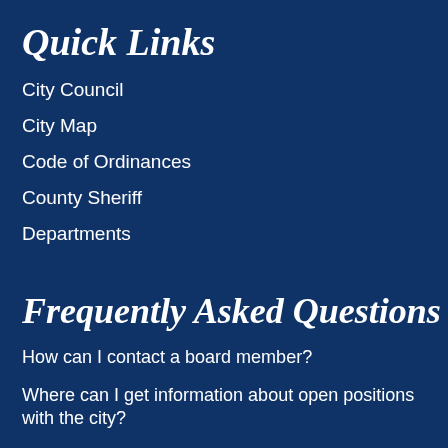Quick Links
City Council
City Map
Code of Ordinances
County Sheriff
Departments
Frequently Asked Questions
How can I contact a board member?
Where can I get information about open positions with the city?
I need to request a copy of a public record. Who do I contact?